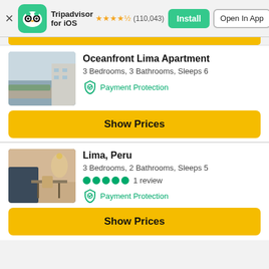Tripadvisor for iOS ★★★★½ (110,043) Install | Open In App
Oceanfront Lima Apartment
3 Bedrooms, 3 Bathrooms, Sleeps 6
Payment Protection
Show Prices
Lima, Peru
3 Bedrooms, 2 Bathrooms, Sleeps 5
1 review
Payment Protection
Show Prices